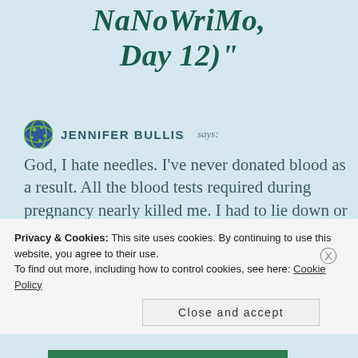NaNoWriMo, Day 12)"
JENNIFER BULLIS says: God, I hate needles. I've never donated blood as a result. All the blood tests required during pregnancy nearly killed me. I had to lie down or risk passing out–and sometimes, I still passed out! You're a brave, brave lady, Marilyn G...
Privacy & Cookies: This site uses cookies. By continuing to use this website, you agree to their use.
To find out more, including how to control cookies, see here: Cookie Policy